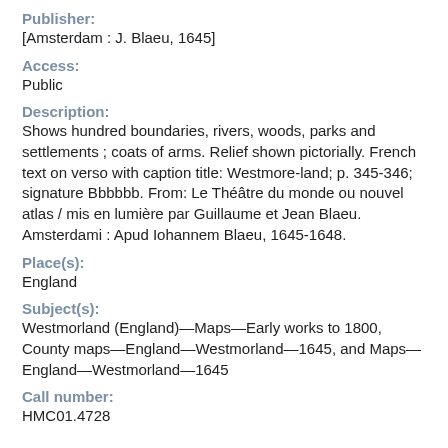Publisher:
[Amsterdam : J. Blaeu, 1645]
Access:
Public
Description:
Shows hundred boundaries, rivers, woods, parks and settlements ; coats of arms. Relief shown pictorially. French text on verso with caption title: Westmore-land; p. 345-346; signature Bbbbbb. From: Le Théâtre du monde ou nouvel atlas / mis en lumière par Guillaume et Jean Blaeu. Amsterdami : Apud Iohannem Blaeu, 1645-1648.
Place(s):
England
Subject(s):
Westmorland (England)—Maps—Early works to 1800, County maps—England—Westmorland—1645, and Maps—England—Westmorland—1645
Call number:
HMC01.4728